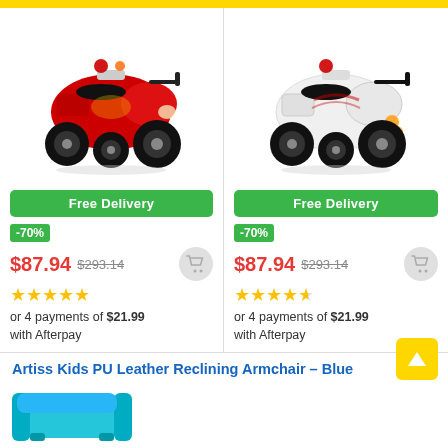[Figure (photo): Red children's ride-on toy motorcycle/trike with police lights]
[Figure (photo): White children's ride-on toy motorcycle/trike with police lights]
Free Delivery
Free Delivery
-70%
-70%
$87.94  $293.14
$87.94  $293.14
or 4 payments of $21.99 with Afterpay
or 4 payments of $21.99 with Afterpay
Artiss Kids PU Leather Reclining Armchair – Blue
[Figure (photo): Blue kids reclining armchair partially visible at bottom]